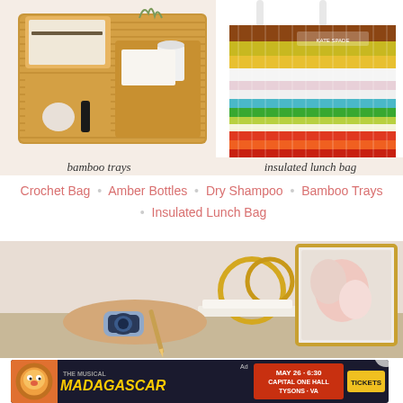[Figure (photo): Collage of two product images: left shows woven bamboo trays with toiletries labeled 'bamboo trays', right shows a colorful striped insulated lunch bag labeled 'insulated lunch bag']
Crochet Bag · Amber Bottles · Dry Shampoo · Bamboo Trays · Insulated Lunch Bag
[Figure (photo): Person writing or using a device at a desk with gold decor and framed art in background]
[Figure (photo): Advertisement banner for Madagascar The Musical, May 26 - 6:30, Capital One Hall, Tysons - VA, Tickets]